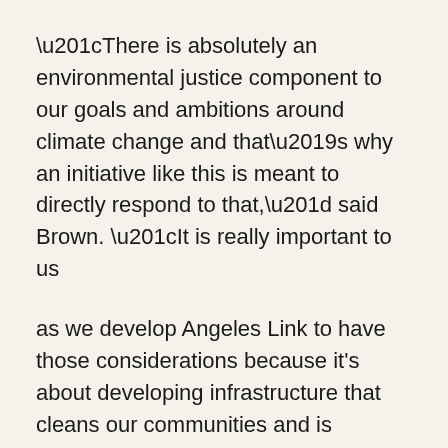“There is absolutely an environmental justice component to our goals and ambitions around climate change and that’s why an initiative like this is meant to directly respond to that,” said Brown. “It is really important to us
as we develop Angeles Link to have those considerations because it's about developing infrastructure that cleans our communities and is designed in a way that is equitable in our communities as well.
Simon says the project is vital to the Southern California region.